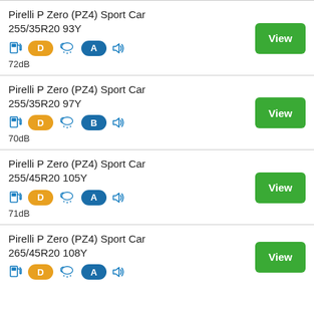Pirelli P Zero (PZ4) Sport Car 255/35R20 93Y — D A 72dB — View
Pirelli P Zero (PZ4) Sport Car 255/35R20 97Y — D B 70dB — View
Pirelli P Zero (PZ4) Sport Car 255/45R20 105Y — D A 71dB — View
Pirelli P Zero (PZ4) Sport Car 265/45R20 108Y — D A — View